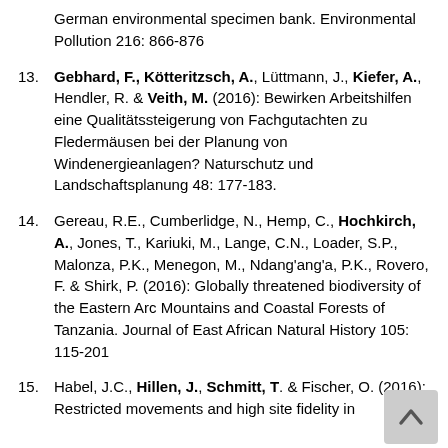13. Gebhard, F., Kötteritzsch, A., Lüttmann, J., Kiefer, A., Hendler, R. & Veith, M. (2016): Bewirken Arbeitshilfen eine Qualitätssteigerung von Fachgutachten zu Fledermäusen bei der Planung von Windenergieanlagen? Naturschutz und Landschaftsplanung 48: 177-183.
14. Gereau, R.E., Cumberlidge, N., Hemp, C., Hochkirch, A., Jones, T., Kariuki, M., Lange, C.N., Loader, S.P., Malonza, P.K., Menegon, M., Ndang'ang'a, P.K., Rovero, F. & Shirk, P. (2016): Globally threatened biodiversity of the Eastern Arc Mountains and Coastal Forests of Tanzania. Journal of East African Natural History 105: 115-201
15. Habel, J.C., Hillen, J., Schmitt, T. & Fischer, O. (2016): Restricted movements and high site fidelity in